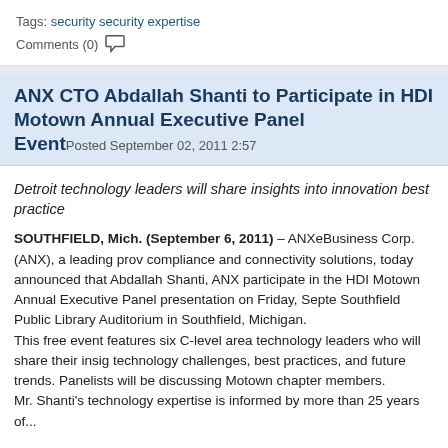Tags: security security expertise
Comments (0)
ANX CTO Abdallah Shanti to Participate in HDI Motown Annual Executive Panel Event Posted September 02, 2011 2:57
Detroit technology leaders will share insights into innovation best practice
SOUTHFIELD, Mich. (September 6, 2011) – ANXeBusiness Corp. (ANX), a leading provider of compliance and connectivity solutions, today announced that Abdallah Shanti, ANX participate in the HDI Motown Annual Executive Panel presentation on Friday, September Southfield Public Library Auditorium in Southfield, Michigan.
This free event features six C-level area technology leaders who will share their insights on technology challenges, best practices, and future trends. Panelists will be discussing Motown chapter members.
Mr. Shanti's technology expertise is informed by more than 25 years of...
Read more